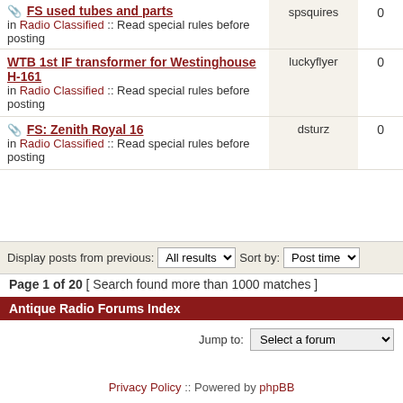| Topic | Author | Replies |
| --- | --- | --- |
| [attachment] FS used tubes and parts
in Radio Classified :: Read special rules before posting | spsquires | 0 |
| WTB 1st IF transformer for Westinghouse H-161
in Radio Classified :: Read special rules before posting | luckyflyer | 0 |
| [attachment] FS: Zenith Royal 16
in Radio Classified :: Read special rules before posting | dsturz | 0 |
Display posts from previous: All results   Sort by: Post time
Page 1 of 20 [ Search found more than 1000 matches ]
Antique Radio Forums Index
Jump to: Select a forum
Privacy Policy :: Powered by phpBB